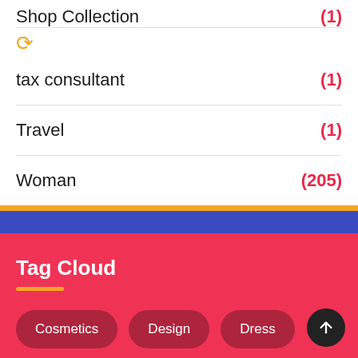Shop Collection (1)
tax consultant (1)
Travel (1)
Woman (205)
Tag Cloud
Cosmetics
Design
Dress
General
Health
Men's